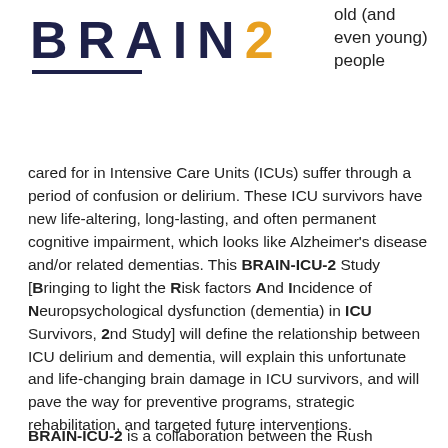[Figure (logo): BRAIN2 logo with dark navy blue text 'BRAIN' and amber/gold number '2', with a dark navy underline beneath the text]
old (and even young) people cared for in Intensive Care Units (ICUs) suffer through a period of confusion or delirium. These ICU survivors have new life-altering, long-lasting, and often permanent cognitive impairment, which looks like Alzheimer's disease and/or related dementias. This BRAIN-ICU-2 Study [Bringing to light the Risk factors And Incidence of Neuropsychological dysfunction (dementia) in ICU Survivors, 2nd Study] will define the relationship between ICU delirium and dementia, will explain this unfortunate and life-changing brain damage in ICU survivors, and will pave the way for preventive programs, strategic rehabilitation, and targeted future interventions.
BRAIN-ICU-2 is a collaboration between the Rush